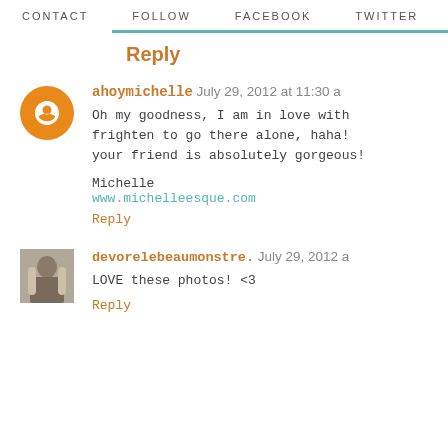CONTACT   FOLLOW   FACEBOOK   TWITTER   INSTAG
Reply
ahoymichelle July 29, 2012 at 11:30 A
Oh my goodness, I am in love with frighten to go there alone, haha! your friend is absolutely gorgeous!

Michelle
www.michelleesque.com
Reply
devorelebeaumonstre. July 29, 2012 a
LOVE these photos! <3
Reply